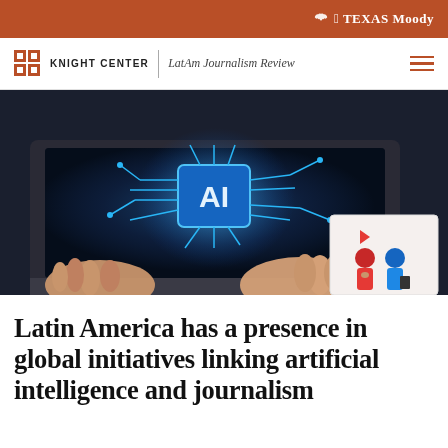TEXAS Moody
KNIGHT CENTER | LatAm Journalism Review
[Figure (photo): Composite image: close-up of hands typing on a laptop with a glowing AI processor chip circuit on the screen, alongside a small inset illustration of two people with a play button icon.]
Latin America has a presence in global initiatives linking artificial intelligence and journalism